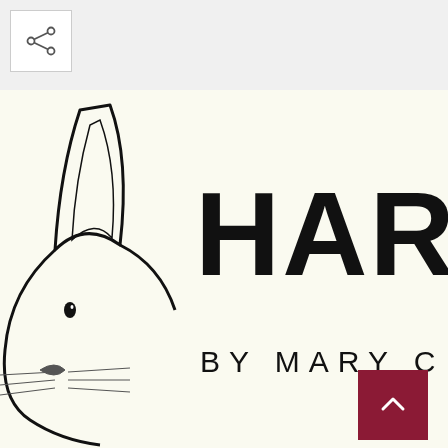[Figure (logo): Share button icon in top left corner — a small share/network icon in a white square box with border]
[Figure (logo): Harvey by Mary Cas brand logo — cream/off-white background with a line-drawn rabbit/cat face on the left side and large bold text reading HARVE on the right with BY MARY C below. A dark red scroll-to-top button overlays the lower right area.]